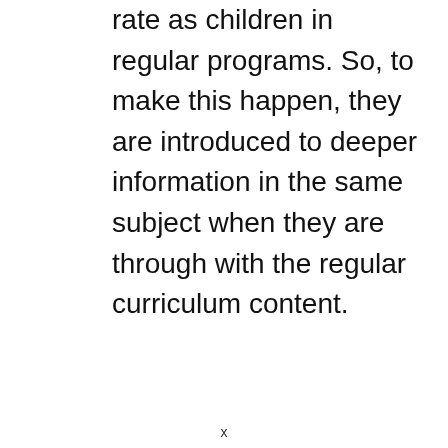rate as children in regular programs. So, to make this happen, they are introduced to deeper information in the same subject when they are through with the regular curriculum content.
x